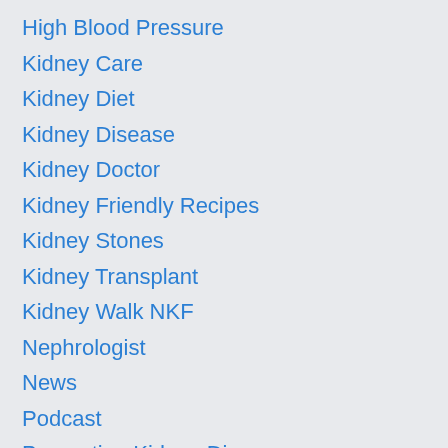High Blood Pressure
Kidney Care
Kidney Diet
Kidney Disease
Kidney Doctor
Kidney Friendly Recipes
Kidney Stones
Kidney Transplant
Kidney Walk NKF
Nephrologist
News
Podcast
Prevention Kidney Disease